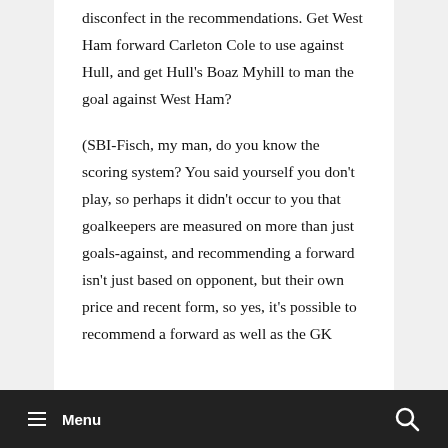disconfect in the recommendations. Get West Ham forward Carleton Cole to use against Hull, and get Hull's Boaz Myhill to man the goal against West Ham?
(SBI-Fisch, my man, do you know the scoring system? You said yourself you don't play, so perhaps it didn't occur to you that goalkeepers are measured on more than just goals-against, and recommending a forward isn't just based on opponent, but their own price and recent form, so yes, it's possible to recommend a forward as well as the GK
Menu